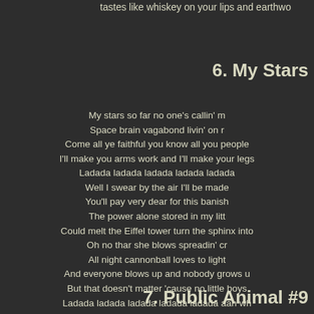tastes like whiskey on your lips and earthwo
6. My Stars
My stars so far no one's callin' m
Space brain vagabond livin' on r
Come all ye faithful you know all you people
I'll make you arms work and I'll make your legs
Ladada ladada ladada ladada ladada
Well I swear by the air I'll be made
You'll pay very dear for this banish
The power alone stored in my litt
Could melt the Eiffel tower turn the sphinx into
Oh no thar she blows spreadin' cr
All night cannonball loves to light
And everyone blows up and nobody grows u
But that doesn't matter 'cause no little boys
Ladada ladada ladada ladada ladada aah wh
I stared at the squall line I stared at t
I see a funnel black there I think I see
Landscapes alive and it's movin'
All I need is a holocaust to make my day con
Klaatu barada nikto klaatu barad
7. Public Animal #9